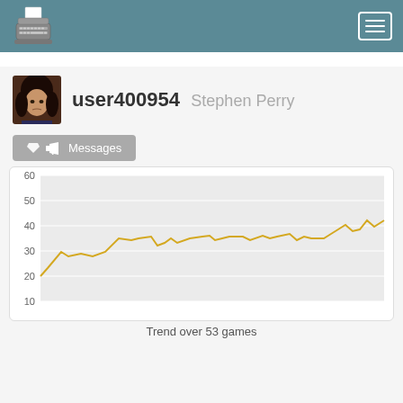typeracer
[Figure (logo): Typewriter logo icon in white/grey on teal header background]
user400954 Stephen Perry
Messages
[Figure (line-chart): Line chart showing typing speed trend over 53 games, ranging from about 20 WPM to 50 WPM with an overall upward trend]
Trend over 53 games